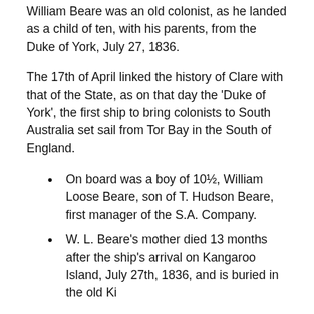William Beare was an old colonist, as he landed as a child of ten, with his parents, from the Duke of York, July 27, 1836.
The 17th of April linked the history of Clare with that of the State, as on that day the 'Duke of York', the first ship to bring colonists to South Australia set sail from Tor Bay in the South of England.
On board was a boy of 10½, William Loose Beare, son of T. Hudson Beare, first manager of the S.A. Company.
W. L. Beare's mother died 13 months after the ship's arrival on Kangaroo Island, July 27th, 1836, and is buried in the old Ki...